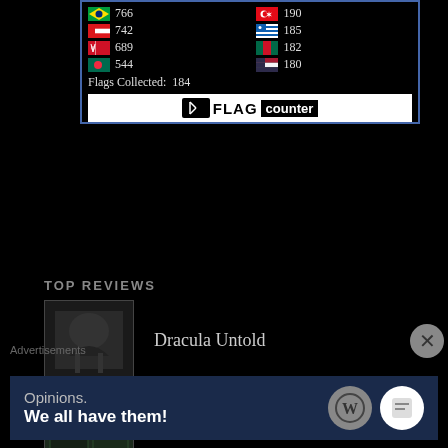[Figure (other): Flag counter widget showing country flags with visit counts: Brazil 766, Oman 742, Bahrain 689, Bangladesh 544, Turkey 190, Greece 185, Mexico 182, Thailand 180. Flags Collected: 184.]
TOP REVIEWS
Dracula Untold
The Maze Runner
Sapthamashree Thaskaraha
Gone Girl
Advertisements
[Figure (other): WordPress advertisement banner: 'Opinions. We all have them!' with WordPress and other logos]